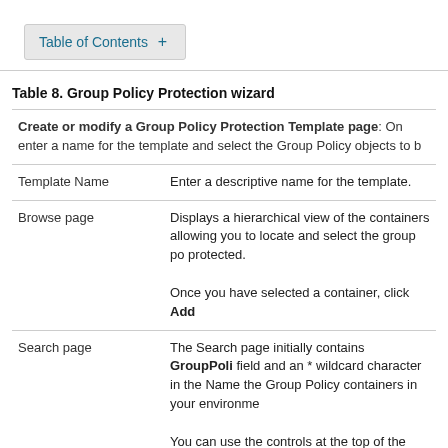Table of Contents +
Table 8. Group Policy Protection wizard
|  | Create or modify a Group Policy Protection Template page: On enter a name for the template and select the Group Policy objects to b |
| Template Name | Enter a descriptive name for the template. |
| Browse page | Displays a hierarchical view of the containers allowing you to locate and select the group po protected.
Once you have selected a container, click Add |
| Search page | The Search page initially contains GroupPoli field and an * wildcard character in the Name the Group Policy containers in your environme
You can use the controls at the top of the pag environment for a group policy container to pr
• In the Find field, either enter or use |